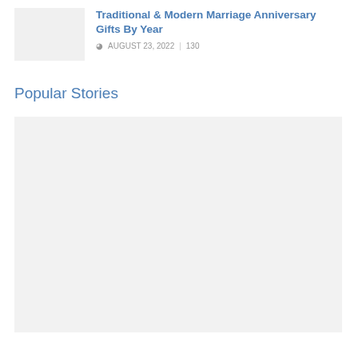[Figure (photo): Thumbnail placeholder image, light gray background]
Traditional & Modern Marriage Anniversary Gifts By Year
AUGUST 23, 2022  130
Popular Stories
[Figure (photo): Large placeholder image, light gray background]